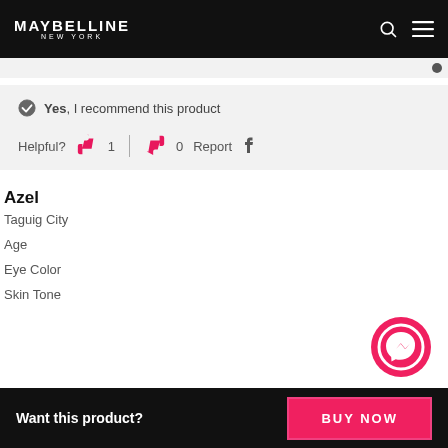MAYBELLINE NEW YORK
Yes, I recommend this product
Helpful? 1 | 0 Report f
Azel
Taguig City
Age
Eye Color
Skin Tone
Want this product?
BUY NOW